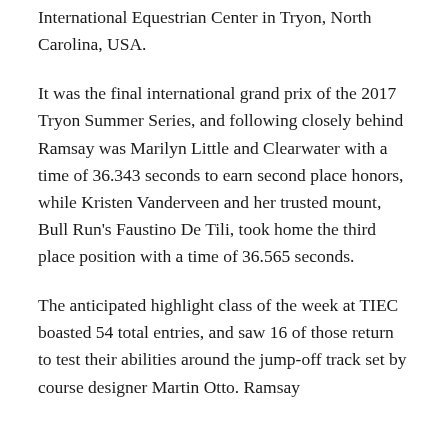International Equestrian Center in Tryon, North Carolina, USA.
It was the final international grand prix of the 2017 Tryon Summer Series, and following closely behind Ramsay was Marilyn Little and Clearwater with a time of 36.343 seconds to earn second place honors, while Kristen Vanderveen and her trusted mount, Bull Run's Faustino De Tili, took home the third place position with a time of 36.565 seconds.
The anticipated highlight class of the week at TIEC boasted 54 total entries, and saw 16 of those return to test their abilities around the jump-off track set by course designer Martin Otto. Ramsay had a near...